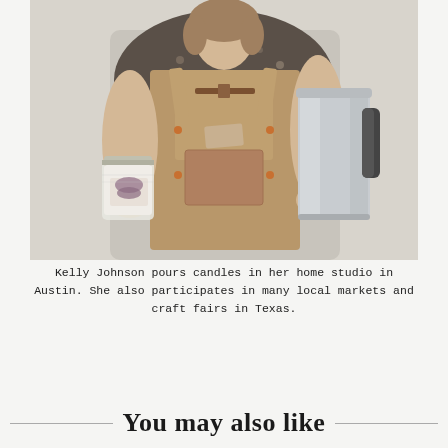[Figure (photo): Woman wearing a tan canvas apron over a floral shirt, holding a mason jar candle in her left hand and a large stainless steel pitcher in her right hand, against a white/light gray background.]
Kelly Johnson pours candles in her home studio in Austin. She also participates in many local markets and craft fairs in Texas.
You may also like